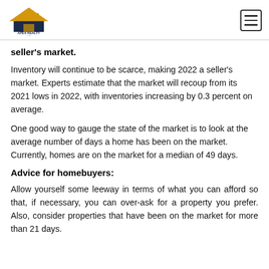Apex Realty logo and navigation menu
seller's market.
Inventory will continue to be scarce, making 2022 a seller's market. Experts estimate that the market will recoup from its 2021 lows in 2022, with inventories increasing by 0.3 percent on average.
One good way to gauge the state of the market is to look at the average number of days a home has been on the market. Currently, homes are on the market for a median of 49 days.
Advice for homebuyers:
Allow yourself some leeway in terms of what you can afford so that, if necessary, you can over-ask for a property you prefer. Also, consider properties that have been on the market for more than 21 days.